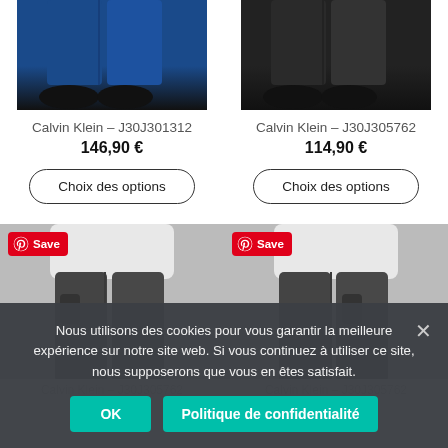[Figure (photo): Top half of person wearing blue denim jeans with black shoes, left product]
[Figure (photo): Top half of person wearing dark jeans with black shoes, right product]
Calvin Klein – J30J301312
146,90 €
Choix des options
Calvin Klein – J30J305762
114,90 €
Choix des options
[Figure (photo): Person wearing dark grey jeans, left product, with Pinterest Save badge]
[Figure (photo): Person wearing dark grey jeans, right product, with Pinterest Save badge]
Nous utilisons des cookies pour vous garantir la meilleure expérience sur notre site web. Si vous continuez à utiliser ce site, nous supposerons que vous en êtes satisfait.
OK
Politique de confidentialité
Calvin Klein – J30J305762
Calvin Klein – J30J305762